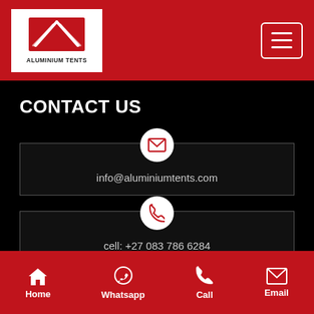[Figure (logo): Aluminium Tents logo — white background with red double-arch tent icon and text ALUMINIUM TENTS]
CONTACT US
info@aluminiumtents.com
cell: +27 083 786 6284
Home  Whatsapp  Call  Email